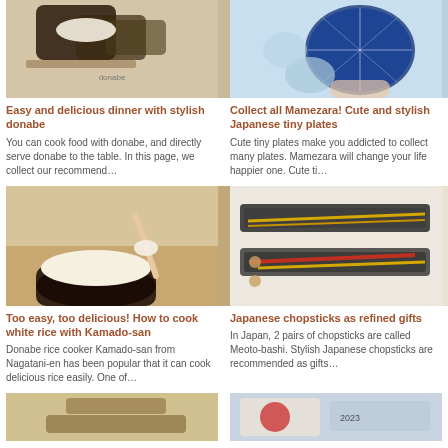[Figure (photo): Donabe clay pot with rice being poured, dark ceramic bowls on wooden surface]
Easy and delicious dinner with stylish donabe
You can cook food with donabe, and directly serve donabe to the table. In this page, we collect our recommend…
[Figure (photo): Hands holding decorative Japanese plates with blue geometric pattern]
Collect all Mamezara! Cute and stylish Japanese tiny plates
Cute tiny plates make you addicted to collect many plates. Mamezara will change your life happier one. Cute ti…
[Figure (photo): Hands scooping white rice from a dark clay pot donabe with a wooden spoon]
Too easy, too delicious! How to cook white rice with Kamado-san
Donabe rice cooker Kamado-san from Nagatani-en has been popular that it can cook delicious rice easily. One of…
[Figure (photo): Japanese chopsticks pairs in gift boxes, gold, black, and red chopsticks]
Japanese chopsticks as refined gifts
In Japan, 2 pairs of chopsticks are called Meoto-bashi. Stylish Japanese chopsticks are recommended as gifts…
[Figure (photo): Partial image of wooden spatula or cooking utensil]
[Figure (photo): Partial image of Japanese calendar or gift packaging with red design]